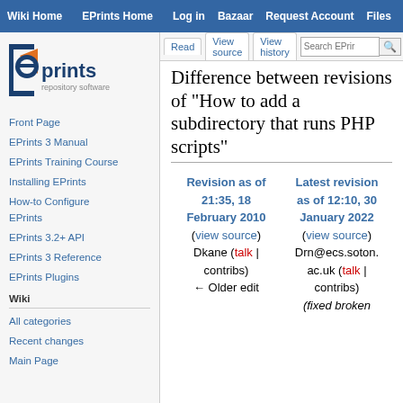Wiki Home | EPrints Home | Log in | Bazaar | Request Account | Files
Read | View source | View history | Search EPrints
[Figure (logo): EPrints repository software logo — square bracket with orange e, dark blue 'prints' text, 'repository software' subtitle]
Front Page
EPrints 3 Manual
EPrints Training Course
Installing EPrints
How-to Configure EPrints
EPrints 3.2+ API
EPrints 3 Reference
EPrints Plugins
Wiki
All categories
Recent changes
Main Page
Difference between revisions of "How to add a subdirectory that runs PHP scripts"
| Revision as of 21:35, 18 February 2010 | Latest revision as of 12:10, 30 January 2022 |
| --- | --- |
| (view source) | (view source) |
| Dkane (talk | contribs) | Drn@ecs.soton.ac.uk (talk | contribs) |
| ← Older edit | (fixed broken |